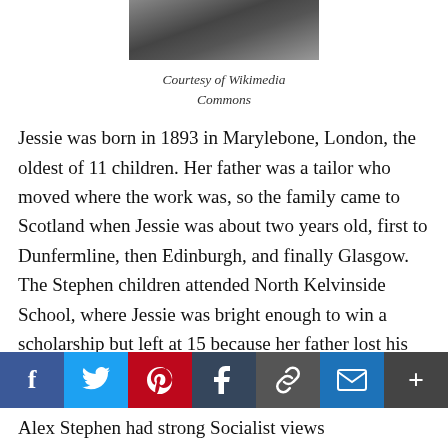[Figure (photo): Black and white photograph of a person, cropped at top of page]
Courtesy of Wikimedia Commons
Jessie was born in 1893 in Marylebone, London, the oldest of 11 children. Her father was a tailor who moved where the work was, so the family came to Scotland when Jessie was about two years old, first to Dunfermline, then Edinburgh, and finally Glasgow. The Stephen children attended North Kelvinside School, where Jessie was bright enough to win a scholarship but left at 15 because her father lost his job and she had to work as a domestic servant to help the family budget.
[Figure (other): Social media sharing bar with Facebook, Twitter, Pinterest, Tumblr, Link, Mail, and More buttons]
Alex Stephen had strong Socialist views